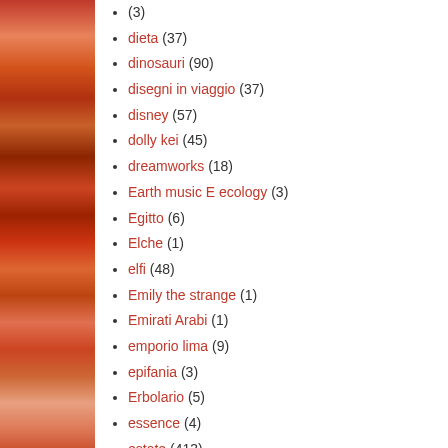[Figure (illustration): Decorative sidebar with warm red/orange/brown textile or floral pattern]
(3)
dieta (37)
dinosauri (90)
disegni in viaggio (37)
disney (57)
dolly kei (45)
dreamworks (18)
Earth music E ecology (3)
Egitto (6)
Elche (1)
elfi (48)
Emily the strange (1)
Emirati Arabi (1)
emporio lima (9)
epifania (3)
Erbolario (5)
essence (4)
estate (413)
Estonia (1)
etnico (159)
etnies (2)
Eugenides (3)